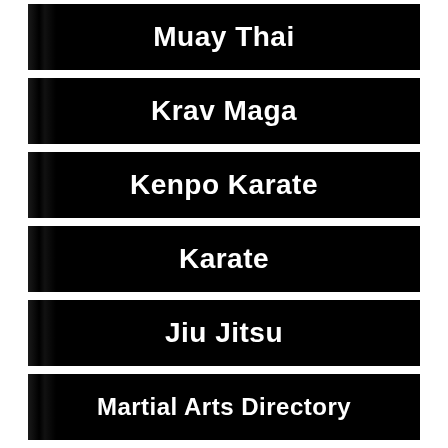Muay Thai
Krav Maga
Kenpo Karate
Karate
Jiu Jitsu
Martial Arts Directory